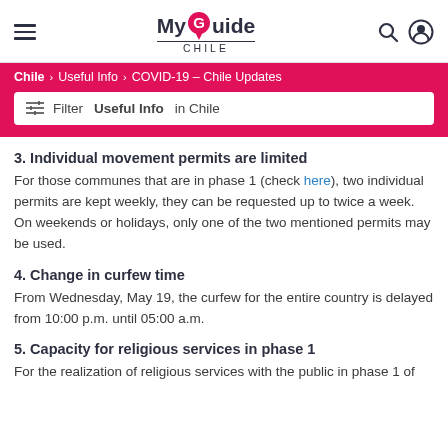MyGuide CHILE
Chile > Useful Info > COVID-19 – Chile Updates
Filter Useful Info in Chile
3. Individual movement permits are limited
For those communes that are in phase 1 (check here), two individual permits are kept weekly, they can be requested up to twice a week. On weekends or holidays, only one of the two mentioned permits may be used.
4. Change in curfew time
From Wednesday, May 19, the curfew for the entire country is delayed from 10:00 p.m. until 05:00 a.m.
5. Capacity for religious services in phase 1
For the realization of religious services with the public in phase 1 of